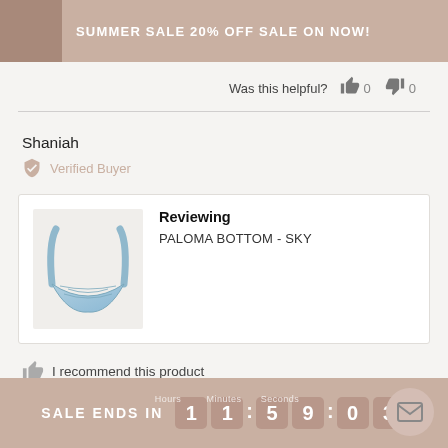SUMMER SALE 20% OFF SALE ON NOW!
Was this helpful? 0 0
Shaniah
Verified Buyer
[Figure (photo): Product photo of Paloma Bottom in Sky blue color - a bikini bottom]
Reviewing
PALOMA BOTTOM - SKY
I recommend this product
Age Range
SALE ENDS IN 11:59:03